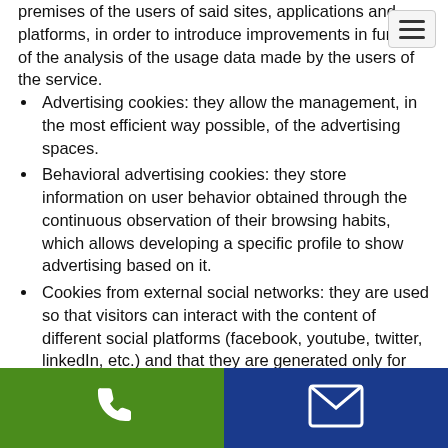premises of the users of said sites, applications and platforms, in order to introduce improvements in function of the analysis of the usage data made by the users of the service.
Advertising cookies: they allow the management, in the most efficient way possible, of the advertising spaces.
Behavioral advertising cookies: they store information on user behavior obtained through the continuous observation of their browsing habits, which allows developing a specific profile to show advertising based on it.
Cookies from external social networks: they are used so that visitors can interact with the content of different social platforms (facebook, youtube, twitter, linkedIn, etc.) and that they are generated only for the users of said social networks. The conditions of use of these cookies and the information collected...